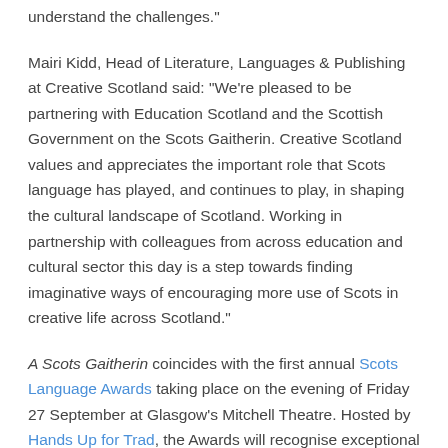understand the challenges."
Mairi Kidd, Head of Literature, Languages & Publishing at Creative Scotland said: "We're pleased to be partnering with Education Scotland and the Scottish Government on the Scots Gaitherin. Creative Scotland values and appreciates the important role that Scots language has played, and continues to play, in shaping the cultural landscape of Scotland. Working in partnership with colleagues from across education and cultural sector this day is a step towards finding imaginative ways of encouraging more use of Scots in creative life across Scotland."
A Scots Gaitherin coincides with the first annual Scots Language Awards taking place on the evening of Friday 27 September at Glasgow's Mitchell Theatre. Hosted by Hands Up for Trad, the Awards will recognise exceptional contributions to the culture and ongoing development of the language.